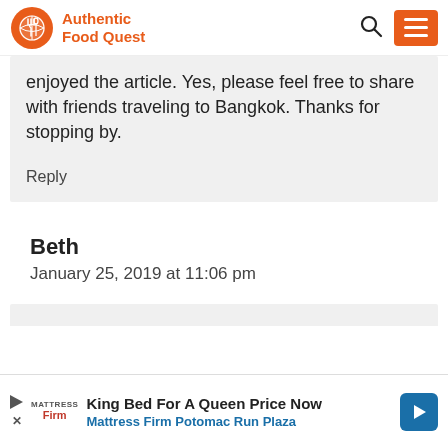Authentic Food Quest
enjoyed the article. Yes, please feel free to share with friends traveling to Bangkok. Thanks for stopping by.
Reply
Beth
January 25, 2019 at 11:06 pm
[Figure (infographic): Advertisement banner: King Bed For A Queen Price Now - Mattress Firm Potomac Run Plaza]